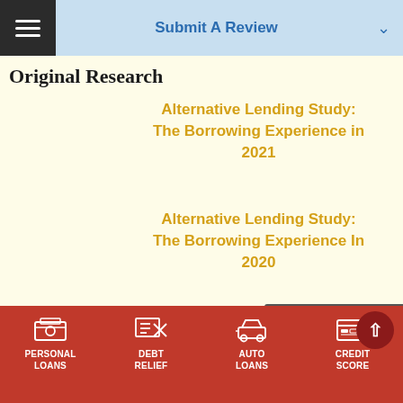Submit A Review
Original Research
Alternative Lending Study: The Borrowing Experience in 2021
Alternative Lending Study: The Borrowing Experience In 2020
COVID-19 Study: Vulnerable...
PERSONAL LOANS | DEBT RELIEF | AUTO LOANS | CREDIT SCORE